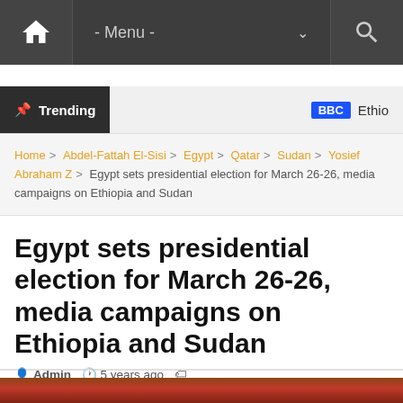Navigation bar with home, menu, and search
Trending | BBC Ethio
Home > Abdel-Fattah El-Sisi > Egypt > Qatar > Sudan > Yosief Abraham Z > Egypt sets presidential election for March 26-26, media campaigns on Ethiopia and Sudan
Egypt sets presidential election for March 26-26, media campaigns on Ethiopia and Sudan
Admin  5 years ago  Abdel-Fattah El-Sisi, Egypt, Qatar, Sudan, Yosief Abraham Z